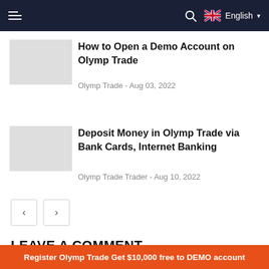English
How to Open a Demo Account on Olymp Trade
Olymp Trade - Aug 03, 2022
Deposit Money in Olymp Trade via Bank Cards, Internet Banking
Olymp Trade Trader - Aug 10, 2022
LEAVE A COMMENT
Register Olymp Trade Get $10,000 free to DEMO account